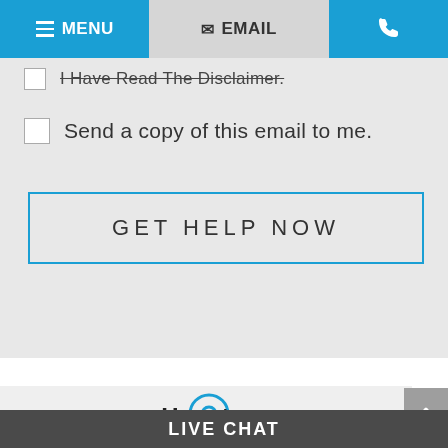MENU | EMAIL | [phone]
I Have Read The Disclaimer.
Send a copy of this email to me.
GET HELP NOW
Houston
3730 Kirby Drive
LIVE CHAT